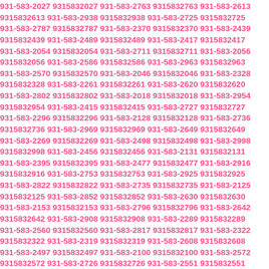931-583-2027 9315832027 931-583-2763 9315832763 931-583-2613 9315832613 931-583-2938 9315832938 931-583-2725 9315832725 931-583-2787 9315832787 931-583-2370 9315832370 931-583-2439 9315832439 931-583-2489 9315832489 931-583-2417 9315832417 931-583-2054 9315832054 931-583-2711 9315832711 931-583-2056 9315832056 931-583-2586 9315832586 931-583-2963 9315832963 931-583-2570 9315832570 931-583-2046 9315832046 931-583-2328 9315832328 931-583-2261 9315832261 931-583-2620 9315832620 931-583-2802 9315832802 931-583-2018 9315832018 931-583-2954 9315832954 931-583-2415 9315832415 931-583-2727 9315832727 931-583-2296 9315832296 931-583-2128 9315832128 931-583-2736 9315832736 931-583-2969 9315832969 931-583-2649 9315832649 931-583-2269 9315832269 931-583-2498 9315832498 931-583-2998 9315832998 931-583-2456 9315832456 931-583-2131 9315832131 931-583-2395 9315832395 931-583-2477 9315832477 931-583-2916 9315832916 931-583-2753 9315832753 931-583-2925 9315832925 931-583-2822 9315832822 931-583-2735 9315832735 931-583-2125 9315832125 931-583-2852 9315832852 931-583-2630 9315832630 931-583-2153 9315832153 931-583-2796 9315832796 931-583-2642 9315832642 931-583-2908 9315832908 931-583-2289 9315832289 931-583-2560 9315832560 931-583-2817 9315832817 931-583-2322 9315832322 931-583-2319 9315832319 931-583-2608 9315832608 931-583-2497 9315832497 931-583-2100 9315832100 931-583-2572 9315832572 931-583-2726 9315832726 931-583-2551 9315832551 931-583-2666 9315832666 931-583-2713 9315832713 931-583-2178 9315832178 931-583-2675 9315832675 931-583-2509